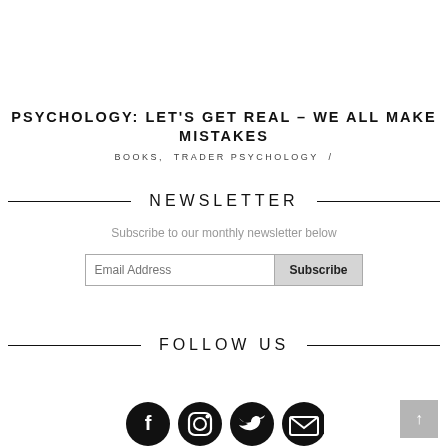PSYCHOLOGY: LET'S GET REAL - WE ALL MAKE MISTAKES
BOOKS, TRADER PSYCHOLOGY /
NEWSLETTER
Subscribe to our monthly newsletter below
FOLLOW US
[Figure (illustration): Social media icons: Facebook, Instagram, Twitter, Email]